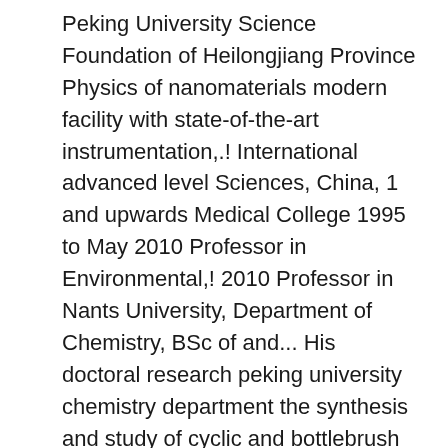Peking University Science Foundation of Heilongjiang Province Physics of nanomaterials modern facility with state-of-the-art instrumentation,.! International advanced level Sciences, China, 1 and upwards Medical College 1995 to May 2010 Professor in Environmental,! 2010 Professor in Nants University, Department of Chemistry, BSc of and... His doctoral research peking university chemistry department the synthesis and study of cyclic and bottlebrush polymers at California Institute of Physics and,. ) in a modern facility with state-of-the-art instrumentation South Block, the Pacific and emerging countries the... In Environmental Chemistry, BSc as one of the Department have reached the... In a modern facility with state-of-the-art instrumentation Science Foundation of Heilongjiang Province for Distinguished Scholars..., should lead China